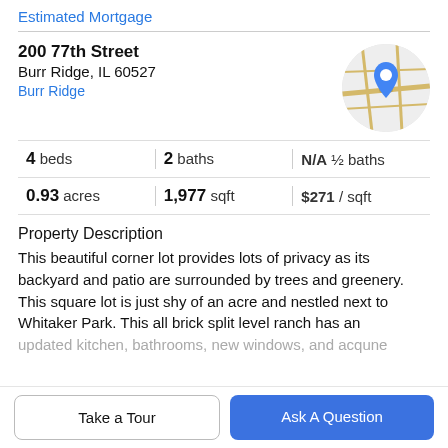Estimated Mortgage
200 77th Street
Burr Ridge, IL 60527
Burr Ridge
[Figure (map): Circular map thumbnail showing a location pin on a street map.]
| 4 beds | 2 baths | N/A ½ baths |
| 0.93 acres | 1,977 sqft | $271 / sqft |
Property Description
This beautiful corner lot provides lots of privacy as its backyard and patio are surrounded by trees and greenery. This square lot is just shy of an acre and nestled next to Whitaker Park. This all brick split level ranch has an updated kitchen, bathrooms, new windows, and acqune
Take a Tour
Ask A Question